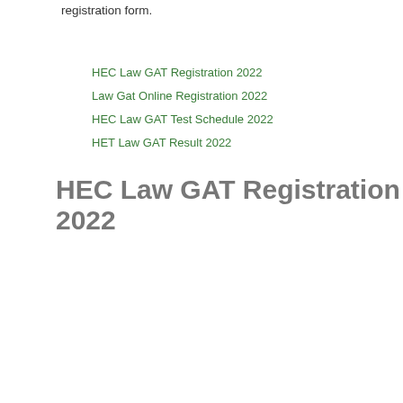registration form.
HEC Law GAT Registration 2022
Law Gat Online Registration 2022
HEC Law GAT Test Schedule 2022
HET Law GAT Result 2022
HEC Law GAT Registration 2022
[Figure (infographic): Red banner with white bold text reading 'HEC LAW GAT Online Registration', followed by a row of small flag/country icons including Pakistan crescent and star symbol and a yellow rectangle icon.]